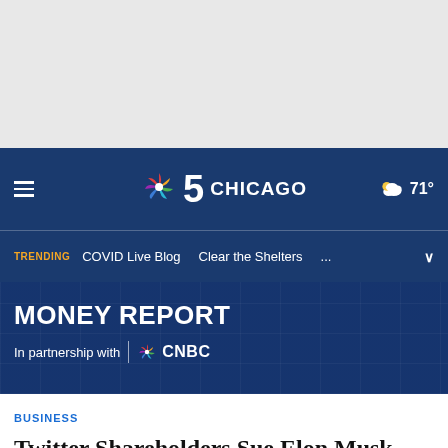[Figure (other): Gray advertisement banner area at the top of the page]
NBC 5 CHICAGO | 71°
TRENDING  COVID Live Blog  Clear the Shelters  ...
MONEY REPORT
In partnership with | CNBC
BUSINESS
Twitter Shareholders Sue Elon Musk and Twitter Over Chaotic Deal